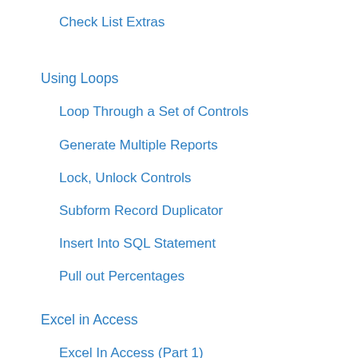Check List Extras
Using Loops
Loop Through a Set of Controls
Generate Multiple Reports
Lock, Unlock Controls
Subform Record Duplicator
Insert Into SQL Statement
Pull out Percentages
Excel in Access
Excel In Access (Part 1)
Excel in Access (Part 2)
Excel in Access (Part 3)
Excel in Access (Parts 1, 2 and 3 as Video